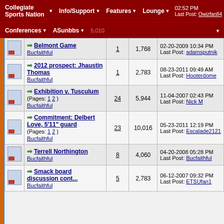Collegiate Sports Nation | Info/Support | Features | Lounge | Conferences | ASunbbs
|  | Thread | Replies | Views | Last Post |
| --- | --- | --- | --- | --- |
| [icon] | Belmont Game
Bucfaithful | 1 | 1,768 | 02-20-2009 10:34 PM
Last Post: adamsputnik |
| [icon] | 2012 prospect: Jhaustin Thomas
Bucfaithful | 1 | 2,783 | 08-23-2011 09:49 AM
Last Post: Hooterdome |
| [icon] | Exhibition v. Tusculum (Pages: 1 2)
Bucfaithful | 24 | 5,944 | 11-04-2007 02:43 PM
Last Post: Nick M |
| [icon] | Commitment: Delbert Love, 5'11" guard (Pages: 1 2)
Bucfaithful | 23 | 10,016 | 05-23-2011 12:19 PM
Last Post: Escalade2121 |
| [icon] | Terrell Northington
Bucfaithful | 8 | 4,060 | 04-20-2008 05:28 PM
Last Post: Bucfaithful |
| [icon] | Smack board discussion cont...
Bucfaithful | 5 | 2,783 | 06-12-2007 09:32 PM
Last Post: ETSUfan1 |